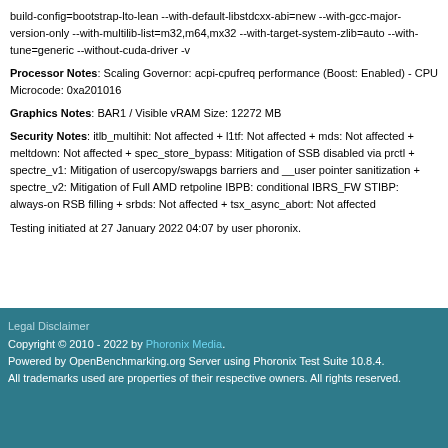build-config=bootstrap-lto-lean --with-default-libstdcxx-abi=new --with-gcc-major-version-only --with-multilib-list=m32,m64,mx32 --with-target-system-zlib=auto --with-tune=generic --without-cuda-driver -v
Processor Notes: Scaling Governor: acpi-cpufreq performance (Boost: Enabled) - CPU Microcode: 0xa201016
Graphics Notes: BAR1 / Visible vRAM Size: 12272 MB
Security Notes: itlb_multihit: Not affected + l1tf: Not affected + mds: Not affected + meltdown: Not affected + spec_store_bypass: Mitigation of SSB disabled via prctl + spectre_v1: Mitigation of usercopy/swapgs barriers and __user pointer sanitization + spectre_v2: Mitigation of Full AMD retpoline IBPB: conditional IBRS_FW STIBP: always-on RSB filling + srbds: Not affected + tsx_async_abort: Not affected
Testing initiated at 27 January 2022 04:07 by user phoronix.
Legal Disclaimer
Copyright © 2010 - 2022 by Phoronix Media.
Powered by OpenBenchmarking.org Server using Phoronix Test Suite 10.8.4.
All trademarks used are properties of their respective owners. All rights reserved.